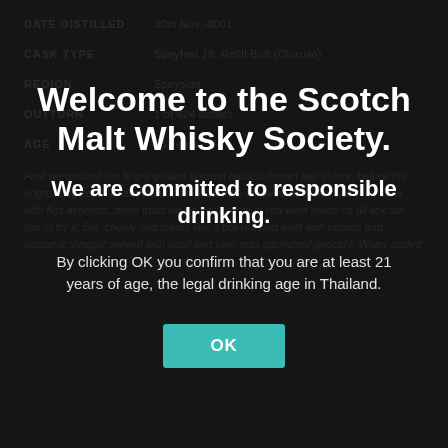DATE DISTILLED    30th Nov -0001
CASK TYPE    Speyfest 18. Refill Butt (Oloroso)
REGION    Speyside
OUTTURN    1 of 624 bottles
AGE    65 years
Welcome to the Scotch Malt Whisky Society.
We are committed to responsible drinking.
By clicking OK you confirm that you are at least 21 years of age, the legal drinking age in Thailand.
First we noticed the bright golden autumn reddish/brown leaf colour, before the engrossing scent of an Andalusian gazpacho followed by Moroccan beef stew with figs almonds, dried fruits olives and plenty of red wine made us all lick our lips to try it. Big, chewy and meaty like a pot-roasted beef with prunes and balsamic vinegar served with basil and pine nuts garnished gnocchi. Water added